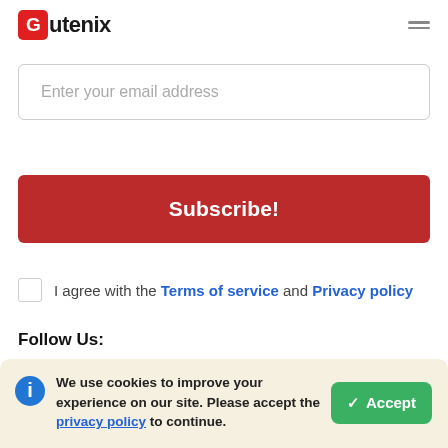[Figure (logo): Gutenix logo with red G icon and bold black text]
Enter your email address
Subscribe!
I agree with the Terms of service and Privacy policy
Follow Us:
We use cookies to improve your experience on our site. Please accept the privacy policy to continue.